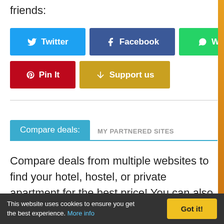friends:
[Figure (screenshot): Social sharing buttons: Twitter (blue), Facebook (dark blue), WhatsApp (green), Pin It (red), Support us (yellow-brown)]
Compare deals: MY PARTNERED SITES
Compare deals from multiple websites to find your hotel, hostel, or private apartment for the best price! You can also check for flights and ferries to Croatia, book airport transfers in advance, or find most popular tours and
This website uses cookies to ensure you get the best experience. More info | Got it!